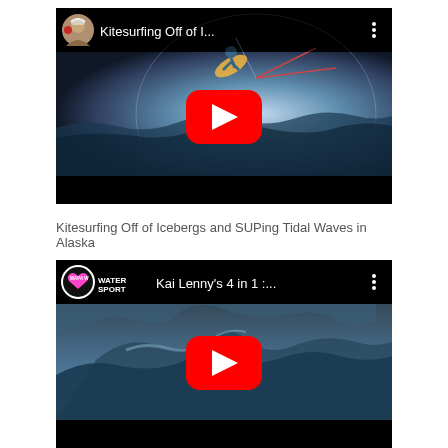[Figure (screenshot): YouTube video thumbnail for 'Kitesurfing Off of I...' showing a kitesurfer over water with fisheye lens perspective, with YouTube play button overlay]
Kitesurfing Off of Icebergs and SUPing Tidal Waves in Alaska
[Figure (screenshot): YouTube video thumbnail for 'Kai Lenny's 4 in 1 :...' showing a surfer on a massive wave, with YouTube play button overlay and Water Sports channel logo]